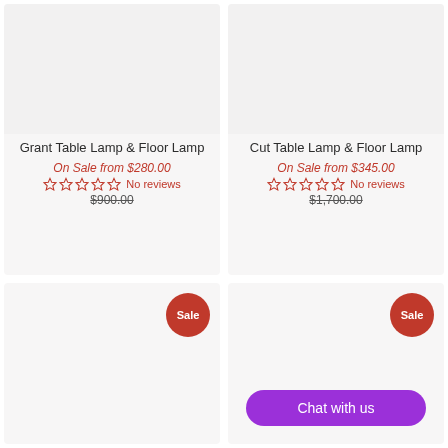[Figure (other): Product image placeholder for Grant Table Lamp & Floor Lamp]
Grant Table Lamp & Floor Lamp
On Sale from $280.00
No reviews
$900.00
[Figure (other): Product image placeholder for Cut Table Lamp & Floor Lamp]
Cut Table Lamp & Floor Lamp
On Sale from $345.00
No reviews
$1,700.00
[Figure (other): Product image placeholder with Sale badge]
[Figure (other): Product image placeholder with Sale badge and Chat with us button]